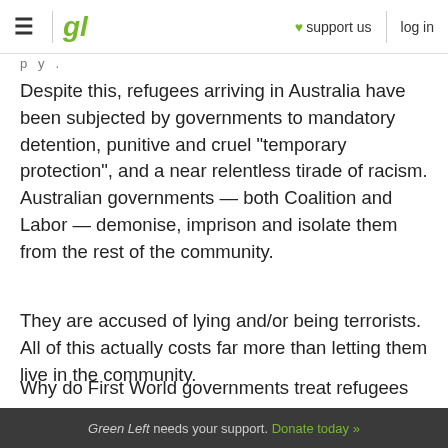gl | ♥ support us | log in
Despite this, refugees arriving in Australia have been subjected by governments to mandatory detention, punitive and cruel "temporary protection", and a near relentless tirade of racism. Australian governments — both Coalition and Labor — demonise, imprison and isolate them from the rest of the community.
They are accused of lying and/or being terrorists. All of this actually costs far more than letting them live in the community.
Why do First World governments treat refugees
Green Left needs your support. Donate today »